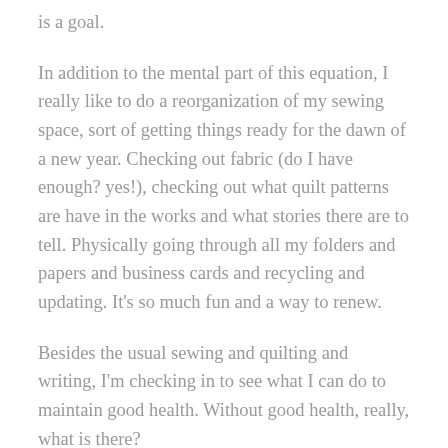is a goal.
In addition to the mental part of this equation, I really like to do a reorganization of my sewing space, sort of getting things ready for the dawn of a new year. Checking out fabric (do I have enough? yes!), checking out what quilt patterns are have in the works and what stories there are to tell. Physically going through all my folders and papers and business cards and recycling and updating. It’s so much fun and a way to renew.
Besides the usual sewing and quilting and writing, I’m checking in to see what I can do to maintain good health.  Without good health, really, what is there?
There are five widely accepted “Good Pillars of